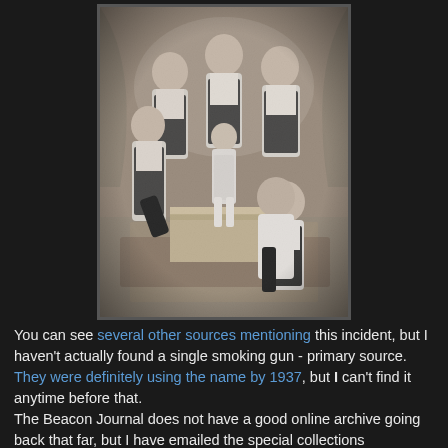[Figure (photo): Black and white historical photograph of a group of men and a child in athletic/wrestling attire, posed in a studio setting with a decorative background. Several men stand in the back row while others are seated or posed in front.]
You can see several other sources mentioning this incident, but I haven't actually found a single smoking gun - primary source.  They were definitely using the name by 1937, but I can't find it anytime before that.
The Beacon Journal does not have a good online archive going back that far, but I have emailed the special collections